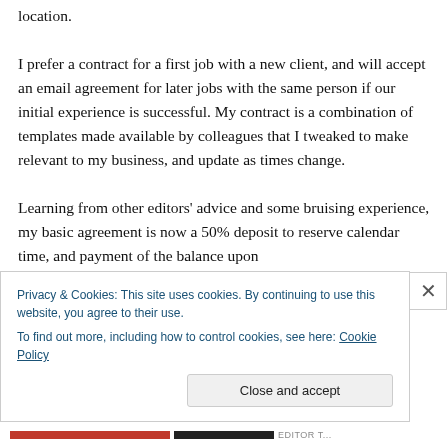location.
I prefer a contract for a first job with a new client, and will accept an email agreement for later jobs with the same person if our initial experience is successful. My contract is a combination of templates made available by colleagues that I tweaked to make relevant to my business, and update as times change.
Learning from other editors’ advice and some bruising experience, my basic agreement is now a 50% deposit to reserve calendar time, and payment of the balance upon
Privacy & Cookies: This site uses cookies. By continuing to use this website, you agree to their use.
To find out more, including how to control cookies, see here: Cookie Policy
Close and accept